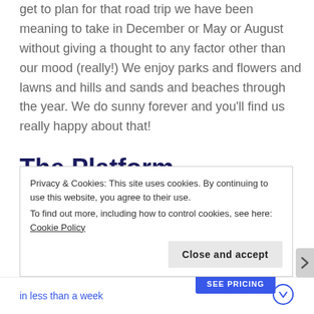get to plan for that road trip we have been meaning to take in December or May or August without giving a thought to any factor other than our mood (really!) We enjoy parks and flowers and lawns and hills and sands and beaches through the year. We do sunny forever and you'll find us really happy about that!
The Platform Where WordPress Works Best
Privacy & Cookies: This site uses cookies. By continuing to use this website, you agree to their use.
To find out more, including how to control cookies, see here: Cookie Policy
Close and accept
in less than a week